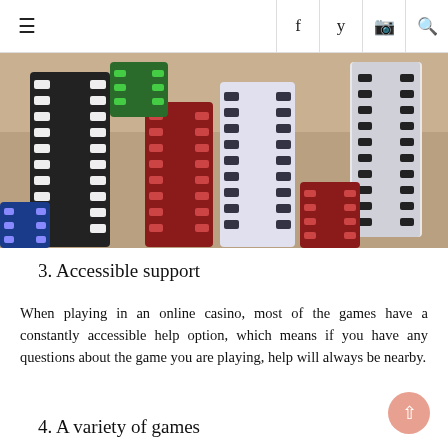≡  f  [twitter]  [instagram]  [search]
[Figure (photo): Stacks of casino poker chips in various colors: black, white, red, green, and blue, piled on a surface.]
3. Accessible support
When playing in an online casino, most of the games have a constantly accessible help option, which means if you have any questions about the game you are playing, help will always be nearby.
4. A variety of games